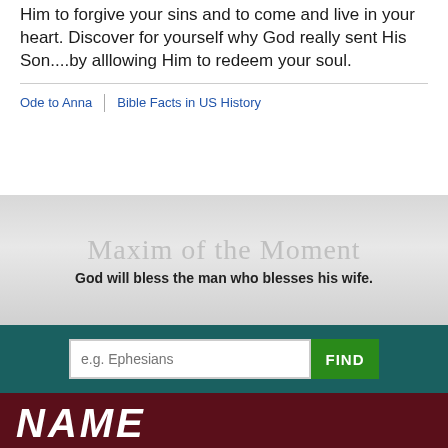Him to forgive your sins and to come and live in your heart. Discover for yourself why God really sent His Son....by alllowing Him to redeem your soul.
Ode to Anna
Bible Facts in US History
Maxim of the Moment
God will bless the man who blesses his wife.
e.g. Ephesians
FIND
[Figure (logo): NAME logo - stylized letters in white italic bold font]
NATIVE AMERICAN MARRIAGE ENHANCEMENT
© 2004-2022 Native American Marriage Enhancement